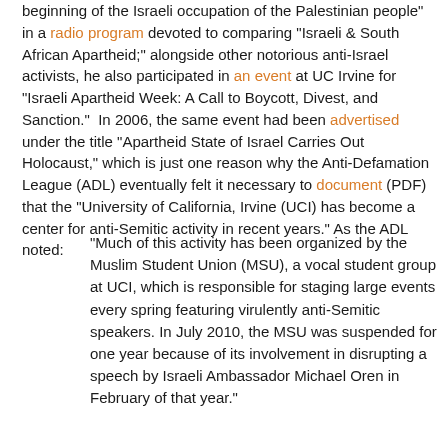beginning of the Israeli occupation of the Palestinian people" in a radio program devoted to comparing "Israeli & South African Apartheid;" alongside other notorious anti-Israel activists, he also participated in an event at UC Irvine for "Israeli Apartheid Week: A Call to Boycott, Divest, and Sanction."  In 2006, the same event had been advertised under the title "Apartheid State of Israel Carries Out Holocaust," which is just one reason why the Anti-Defamation League (ADL) eventually felt it necessary to document (PDF) that the "University of California, Irvine (UCI) has become a center for anti-Semitic activity in recent years." As the ADL noted:
“Much of this activity has been organized by the Muslim Student Union (MSU), a vocal student group at UCI, which is responsible for staging large events every spring featuring virulently anti-Semitic speakers. In July 2010, the MSU was suspended for one year because of its involvement in disrupting a speech by Israeli Ambassador Michael Oren in February of that year.”